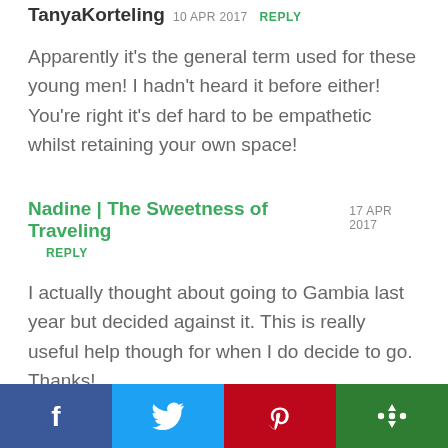TanyaKorteling 10 APR 2017  REPLY
Apparently it's the general term used for these young men! I hadn't heard it before either! You're right it's def hard to be empathetic whilst retaining your own space!
Nadine | The Sweetness of Traveling 17 APR 2017
REPLY
I actually thought about going to Gambia last year but decided against it. This is really useful help though for when I do decide to go. Thanks!
TanyaKorteling 19 APR 2017  REPLY
[Figure (infographic): Social sharing bar with four buttons: Facebook (blue), Twitter (light blue), Pinterest (red), More/share (green), each with a white icon]